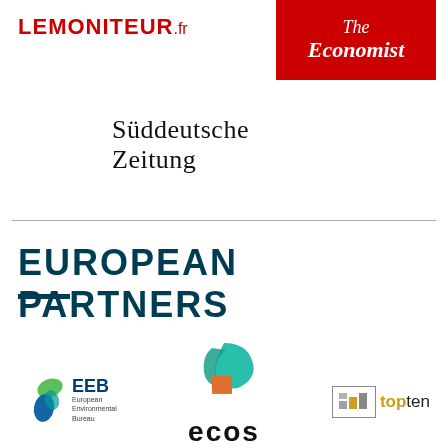[Figure (logo): Le Moniteur .fr logo in red bold text]
[Figure (logo): The Economist logo on red background with italic serif text]
[Figure (logo): Süddeutsche Zeitung logo in serif black text]
EUROPEAN PARTNERS
[Figure (logo): EEB European Environmental Bureau logo with green/blue leaf graphic]
[Figure (logo): ECOS logo with teal geometric shape and orange square above text ecos]
[Figure (logo): topten logo with grey box containing colored squares and gold text top followed by black ten]